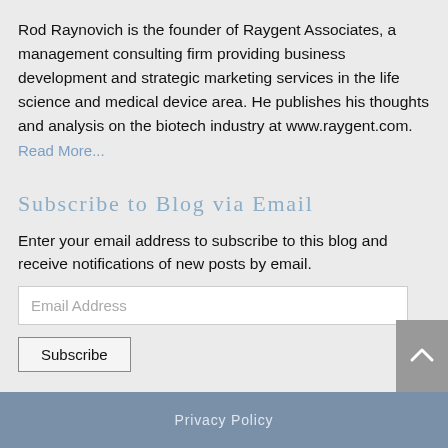Rod Raynovich is the founder of Raygent Associates, a management consulting firm providing business development and strategic marketing services in the life science and medical device area. He publishes his thoughts and analysis on the biotech industry at www.raygent.com.
Read More...
Subscribe to Blog via Email
Enter your email address to subscribe to this blog and receive notifications of new posts by email.
Privacy Policy